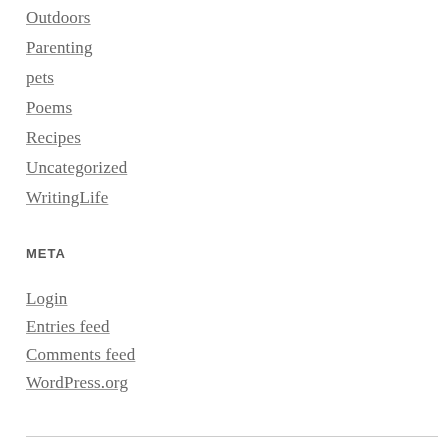Outdoors
Parenting
pets
Poems
Recipes
Uncategorized
WritingLife
META
Login
Entries feed
Comments feed
WordPress.org